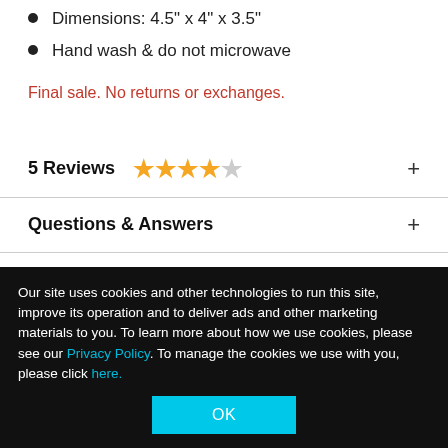Dimensions: 4.5" x 4" x 3.5"
Hand wash & do not microwave
Final sale. No returns or exchanges.
5 Reviews ★★★★☆
Questions & Answers
Shipping Delays & Returns
Coronavirus Impact On All Orders
Our site uses cookies and other technologies to run this site, improve its operation and to deliver ads and other marketing materials to you. To learn more about how we use cookies, please see our Privacy Policy. To manage the cookies we use with you, please click here.
OK